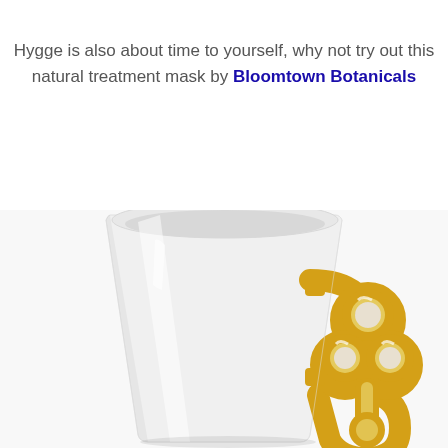Hygge is also about time to yourself, why not try out this natural treatment mask by Bloomtown Botanicals
[Figure (photo): A white ceramic mug with a decorative gold clover-shaped handle, photographed from the front-right angle showing the inside of the mug and the ornate gold handle.]